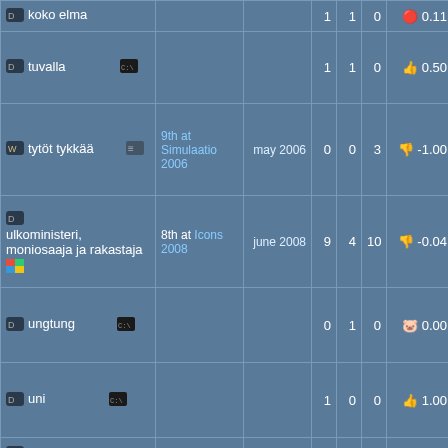| name | event | date |  |  |  | score |  |
| --- | --- | --- | --- | --- | --- | --- | --- |
| koko elma |  |  | 1 | 1 | 0 | 0.11 |
| tuvalla |  |  | 1 | 1 | 0 | 0.50 |
| tytöt tykkää | 9th at Simulaatio 2006 | may 2006 | 0 | 0 | 3 | -1.00 |
| ulkoministeri, moniosaaja ja rakastaja | 8th at Icons 2008 | june 2008 | 9 | 4 | 10 | -0.04 |
| ungtung |  |  | 0 | 1 | 0 | 0.00 |
| uni |  |  | 1 | 0 | 0 | 1.00 |
| united kingdoms of australia and botswana |  |  | 0 | 0 | 0 | 0.00 |
| unofficial altstork invitation |  | april 2006 | 10 | 2 | 3 | 0.47 |